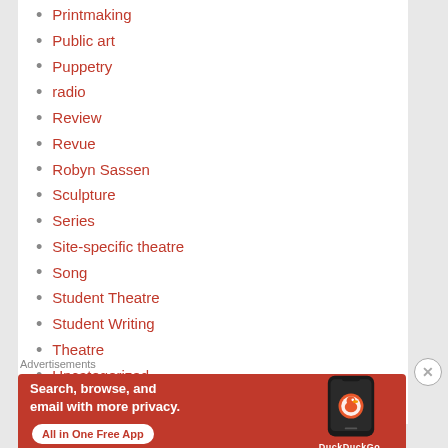Printmaking
Public art
Puppetry
radio
Review
Revue
Robyn Sassen
Sculpture
Series
Site-specific theatre
Song
Student Theatre
Student Writing
Theatre
Uncategorized
Visual Art
Advertisements
[Figure (illustration): DuckDuckGo advertisement banner: orange background with text 'Search, browse, and email with more privacy. All in One Free App' alongside a phone graphic and DuckDuckGo logo]